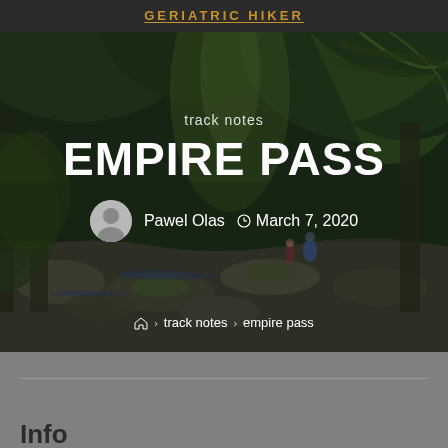GERIATRIC HIKER
[Figure (photo): Dark rainforest scene with large ferns and rocky creek, two hikers visible in the background]
track notes
EMPIRE PASS
Pawel Olas   March 7, 2020
Home › track notes › empire pass
Info